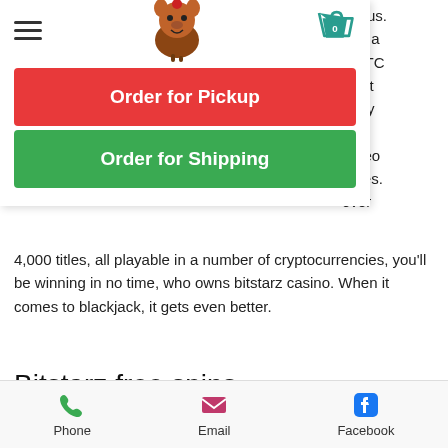Navigation bar with hamburger menu, Tummy Tumtum logo, and cart (0)
[Figure (screenshot): Overlay dropdown menu with red 'Order for Pickup' button and green 'Order for Shipping' button]
bonus. fers a 1 BTC posit -only 99, Video ames. over 4,000 titles, all playable in a number of cryptocurrencies, you'll be winning in no time, who owns bitstarz casino. When it comes to blackjack, it gets even better.
Bitstarz free spins, bitstarz casino code
Step 3: Now just login to these faucets daily and claim rewards completing a simple
Phone   Email   Facebook